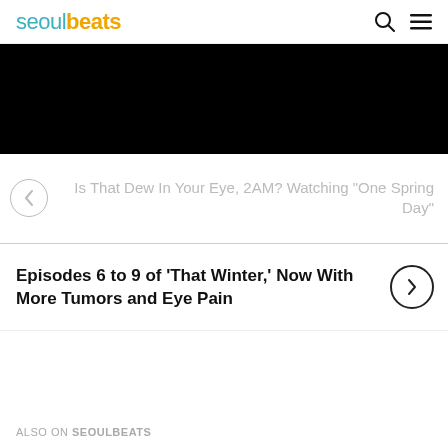seoulbeats
[Figure (photo): Black banner image area at top of page]
Is That Dew In Your Eye, 2AM? Watching "One Spring Day"
Episodes 6 to 9 of 'That Winter,' Now With More Tumors and Eye Pain
ALSO ON SEOULBEATS